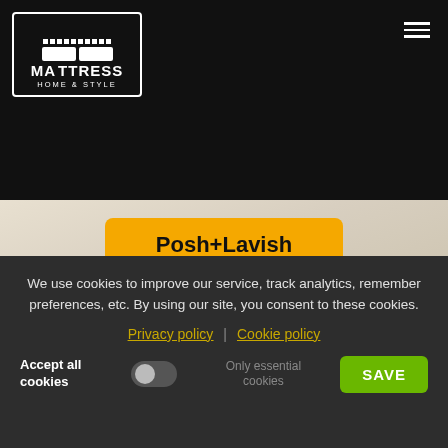[Figure (logo): Mattress Home & Style logo in white on black background with decorative border]
Posh+Lavish
[Figure (photo): Chat popup showing avatar of Chris with message: Hi, let me know if I can help answer any]
We use cookies to improve our service, track analytics, remember preferences, etc. By using our site, you consent to these cookies.
Privacy policy | Cookie policy
Accept all cookies   Only essential cookies   SAVE